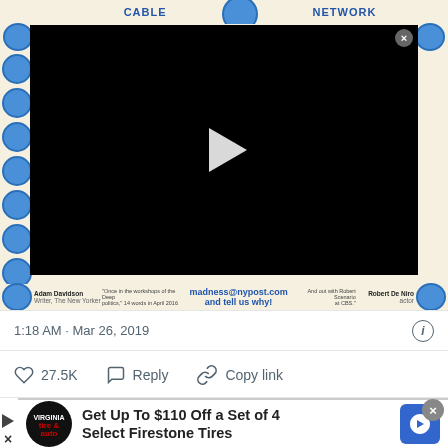[Figure (screenshot): Screenshot of a tweet showing a bracket-style competition graphic with CABLE vs NETWORK labels, avatar slots on the left, a black video player with play button in the center, and 'madness@nypost.com and tell us why!' text at the bottom]
1:18 AM · Mar 26, 2019
27.5K  Reply  Copy link
Get Up To $110 Off a Set of 4 Select Firestone Tires